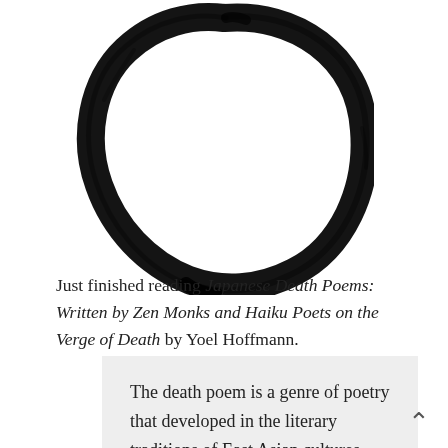[Figure (illustration): Enso — a hand-brushed black ink circle in the Zen calligraphy style, partially open at the bottom, on a white background.]
Just finished reading Japanese Death Poems: Written by Zen Monks and Haiku Poets on the Verge of Death by Yoel Hoffmann.
The death poem is a genre of poetry that developed in the literary traditions of East Asian cultures—most